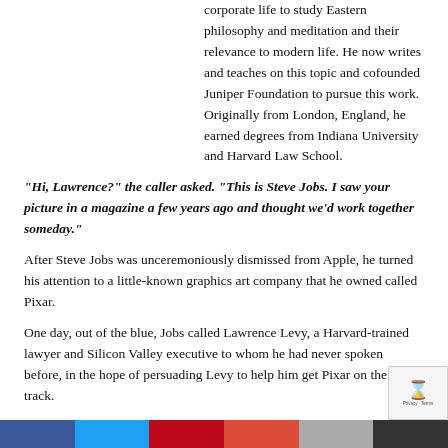corporate life to study Eastern philosophy and meditation and their relevance to modern life. He now writes and teaches on this topic and cofounded Juniper Foundation to pursue this work. Originally from London, England, he earned degrees from Indiana University and Harvard Law School.
“Hi, Lawrence?” the caller asked. “This is Steve Jobs. I saw your picture in a magazine a few years ago and thought we’d work together someday.”
After Steve Jobs was unceremoniously dismissed from Apple, he turned his attention to a little-known graphics art company that he owned called Pixar.
One day, out of the blue, Jobs called Lawrence Levy, a Harvard-trained lawyer and Silicon Valley executive to whom he had never spoken before, in the hope of persuading Levy to help him get Pixar on the right track.
What Levy found in Pixar was a company on the verge of failure. To Pixar and Beyond is the extraordinary story of what happened next: How Levy, working closely with Jobs and the Pixar team, produced and implemented a highly improbable roadmap that transformed the sleepy graphics art studio into one of Hollywood’s greatest success stories.
Set in the worlds of Silicon Valley and Hollywood, the book takes readers inside Pixar, Disney, law firms, and investment banks. It provides an up-close, first-hand account of Pixar’s stunning ascent, how it took risks, Levy’s